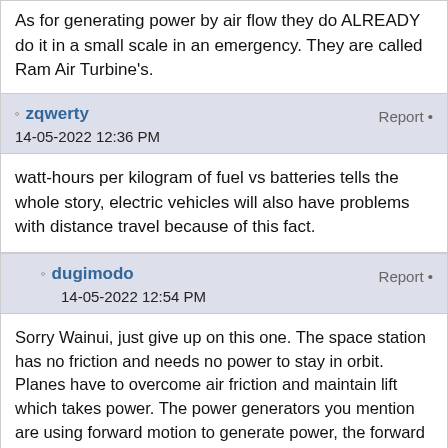As for generating power by air flow they do ALREADY do it in a small scale in an emergency. They are called Ram Air Turbine's.
zqwerty
14-05-2022 12:36 PM
Report •
watt-hours per kilogram of fuel vs batteries tells the whole story, electric vehicles will also have problems with distance travel because of this fact.
dugimodo
14-05-2022 12:54 PM
Report •
Sorry Wainui, just give up on this one. The space station has no friction and needs no power to stay in orbit. Planes have to overcome air friction and maintain lift which takes power. The power generators you mention are using forward motion to generate power, the forward motion comes from the engines so the generators are just taking some of the engine power in a round about way. Kill the engines and the best you can do is glide for a short while, the generators just keep the systems running they can't keep the plane in the air. "Self charging" cars are also just recovering energy provided by the petrol engine which might otherwise be wasted, they make the car more efficient but it's still petrol powered.